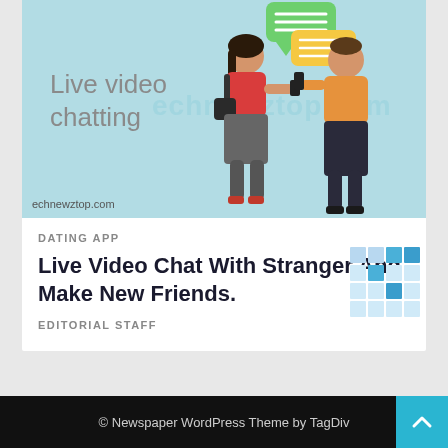[Figure (illustration): Live video chatting illustration with two people using smartphones, chat bubbles, light blue background. Text reads 'Live video chatting' and watermark 'echnewztop.com']
DATING APP
Live Video Chat With Stranger And Make New Friends.
EDITORIAL STAFF
© Newspaper WordPress Theme by TagDiv